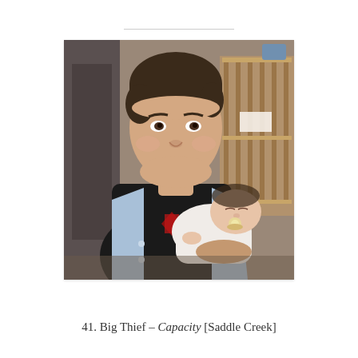[Figure (photo): A photograph of a teenage boy holding a newborn baby with a pacifier. The boy is wearing a black shirt with a graphic and a light blue denim jacket. They are indoors near what appears to be a crib or shelving unit.]
41. Big Thief – Capacity [Saddle Creek]